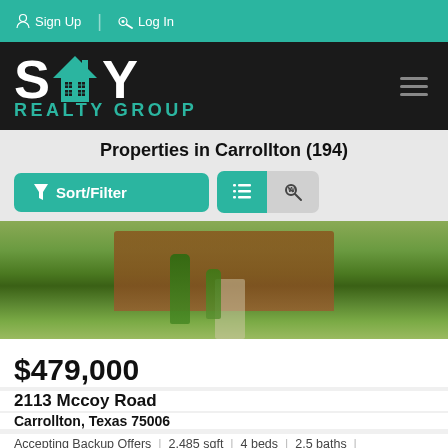Sign Up | Log In
[Figure (logo): SHY Realty Group logo with teal house icon between S and Y letters on black background]
Properties in Carrollton (194)
[Figure (photo): Exterior photo of a house with green lawn, trees, and landscaping]
$479,000
2113 Mccoy Road
Carrollton, Texas 75006
Accepting Backup Offers | 2,485 sqft | 4 beds | 2.5 baths | 0.186 acres | #20149543